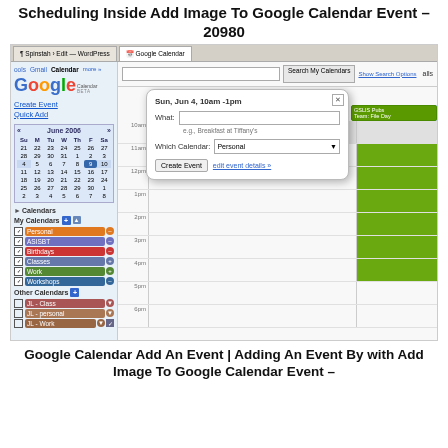Scheduling Inside Add Image To Google Calendar Event – 20980
[Figure (screenshot): Screenshot of Google Calendar with an 'Add Event' popup dialog open, showing fields for 'What' and 'Which Calendar' (set to Personal), along with a Create Event button. The left sidebar shows a mini June 2006 calendar and a list of calendars including Personal, ASISBT, Birthdays, Classes, Work, Workshops under My Calendars, and JL-Class, JL-personal, JL-Work under Other Calendars. The main area shows a weekly calendar view with green event blocks.]
Google Calendar Add An Event | Adding An Event By with Add Image To Google Calendar Event –